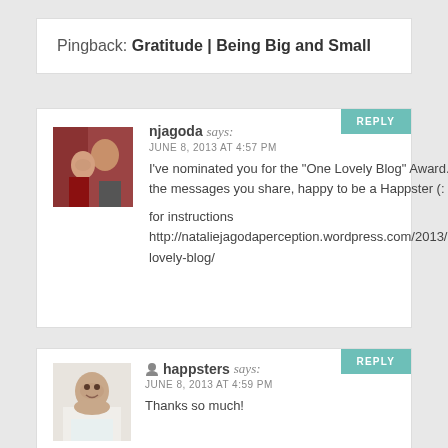Pingback: Gratitude | Being Big and Small
njagoda says: JUNE 8, 2013 AT 4:57 PM
I've nominated you for the “One Lovely Blog” Award. I love all the messages you share, happy to be a Happster (:

for instructions
http://nataliejagodaperception.wordpress.com/2013/06/08/one-lovely-blog/
happsters says: JUNE 8, 2013 AT 4:59 PM
Thanks so much!